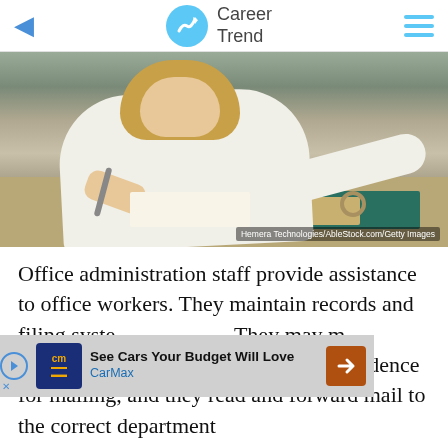Career Trend
[Figure (photo): Woman in white blouse leaning over a desk with binders and files, writing. Photo credit: Hemera Technologies/AbleStock.com/Getty Images]
Office administration staff provide assistance to office workers. They maintain records and filing systems and often produce data reports. They may maintain office supplies inventory and produce correspondence for mailing, and they read and forward mail to the correct department